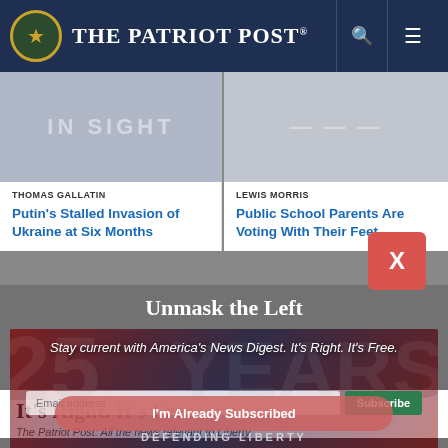The Patriot Post
[Figure (screenshot): Article card image for 'Putin's Stalled Invasion of Ukraine at Six Months' with faint 'IN SIGHT' text overlay]
THOMAS GALLATIN
Putin's Stalled Invasion of Ukraine at Six Months
[Figure (screenshot): Article card image with faint text overlay on right side]
LEWIS MORRIS
Public School Parents Are Voting With Their Feet
Unmask the Left
[Figure (infographic): 25 Years — Defending Liberty banner with American flag background, email subscription form with 'Email address' input and 'Subscribe' button]
Stay current with America's News Digest. It's Right. It's Free.
It's Right. It's Free.
The Patriot Post: All the news relevant to Liberty,